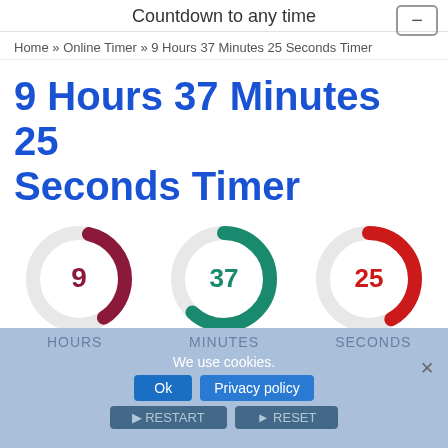Countdown to any time
Home » Online Timer » 9 Hours 37 Minutes 25 Seconds Timer
9 Hours 37 Minutes 25 Seconds Timer
[Figure (donut-chart): Three donut charts showing 9 hours (dark red arc), 37 minutes (teal arc), and 25 seconds (red arc) with numeric values centered in each ring]
HOURS    MINUTES    SECONDS
We use cookies.
Ok   Privacy policy
RESTART   RESET